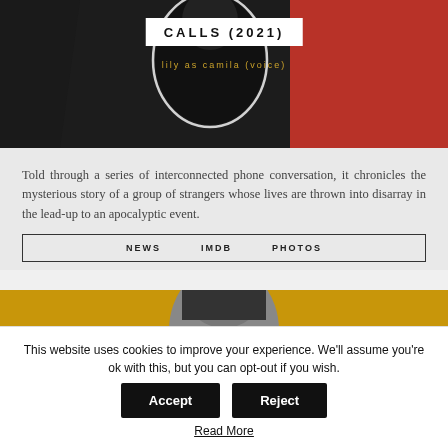[Figure (photo): CALLS (2021) promotional image with a figure in black dress against a red background, with white overlay cutout effect. Title box reads CALLS (2021) and subtitle reads lily as camila (voice).]
Told through a series of interconnected phone conversation, it chronicles the mysterious story of a group of strangers whose lives are thrown into disarray in the lead-up to an apocalyptic event.
NEWS   IMDB   PHOTOS
[Figure (photo): MANK (2021) promotional image with a woman's face against a golden/yellow background. Title box reads MANK (2021).]
This website uses cookies to improve your experience. We'll assume you're ok with this, but you can opt-out if you wish.
Read More